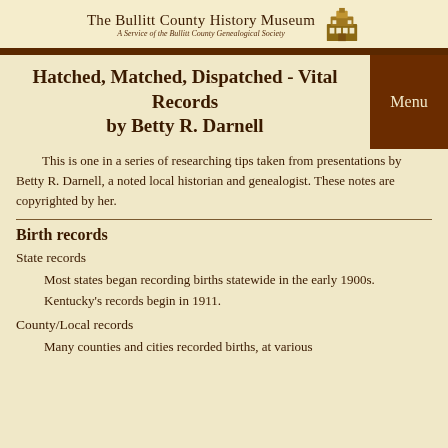The Bullitt County History Museum
A Service of the Bullitt County Genealogical Society
Hatched, Matched, Dispatched - Vital Records
by Betty R. Darnell
This is one in a series of researching tips taken from presentations by Betty R. Darnell, a noted local historian and genealogist. These notes are copyrighted by her.
Birth records
State records
Most states began recording births statewide in the early 1900s. Kentucky’s records begin in 1911.
County/Local records
Many counties and cities recorded births, at various